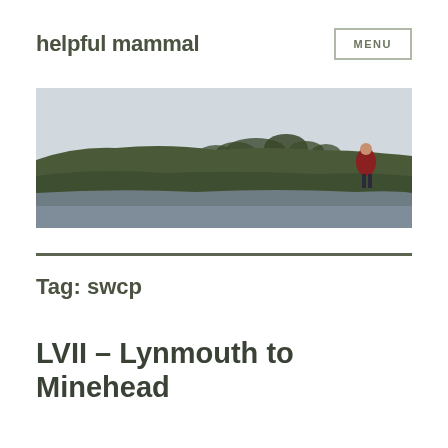helpful mammal
[Figure (photo): Landscape photo of a coastal or moorland scene with a person in a red jacket standing on the right side of a grassy ridge, with water in the foreground and a pale grey sky above.]
Tag: swcp
LVII – Lynmouth to Minehead